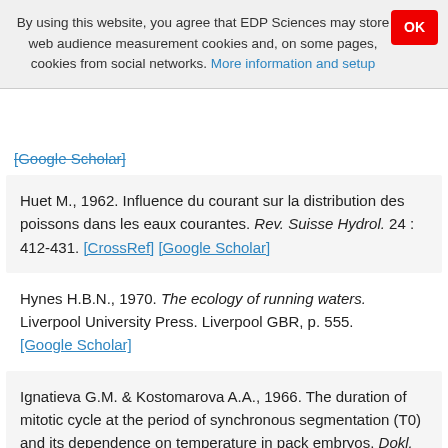By using this website, you agree that EDP Sciences may store web audience measurement cookies and, on some pages, cookies from social networks. More information and setup
[Google Scholar]
Huet M., 1962. Influence du courant sur la distribution des poissons dans les eaux courantes. Rev. Suisse Hydrol. 24 : 412-431. [CrossRef] [Google Scholar]
Hynes H.B.N., 1970. The ecology of running waters. Liverpool University Press. Liverpool GBR, p. 555. [Google Scholar]
Ignatieva G.M. & Kostomarova A.A., 1966. The duration of mitotic cycle at the period of synchronous segmentation (T0) and its dependence on temperature in pack embryos. Dokl. Akad. Nauk SSSR 168 (5) : 1221-